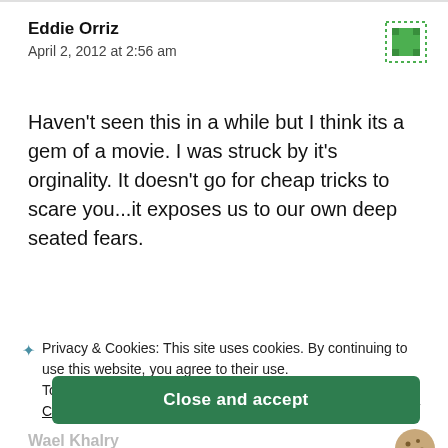Eddie Orriz
April 2, 2012 at 2:56 am
Haven't seen this in a while but I think its a gem of a movie. I was struck by it's orginality. It doesn't go for cheap tricks to scare you...it exposes us to our own deep seated fears.
Privacy & Cookies: This site uses cookies. By continuing to use this website, you agree to their use.
To find out more, including how to control cookies, see here:
Cookie Policy
Close and accept
Wael Khalry
April 6, 2012 at 11:11 am